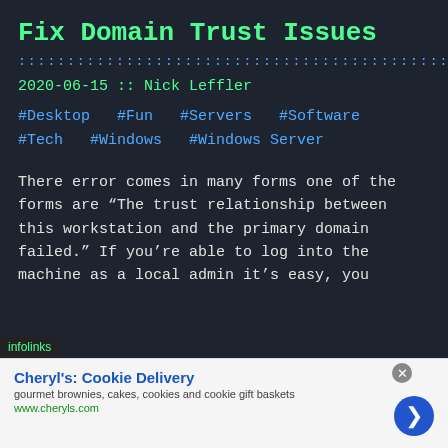Fix Domain Trust Issues
::::::::::::::::::::::::::::::::::::::::::::::::::::::::::::::::::::::::::::
2020-06-15 :: Nick Leffler
#Desktop  #Fun  #Servers  #Software
#Tech  #Windows  #Windows Server
There error comes in many forms one of the forms are “The trust relationship between this workstation and the primary domain failed.” If you’re able to log into the machine as a local admin it’s easy, you
[Figure (infographic): Infolinks advertisement overlay: Cheryl's Cookie Delivery - gourmet brownies, cakes, cookies and cookie gift baskets, www.cheryls.com]